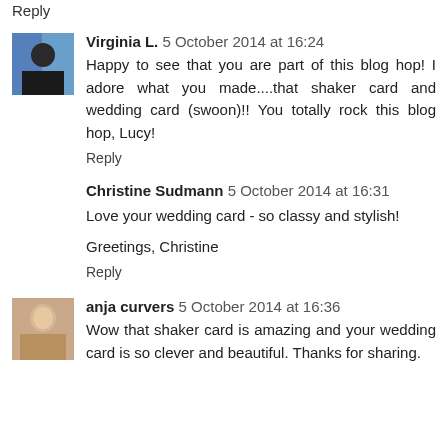Reply
Virginia L. 5 October 2014 at 16:24
Happy to see that you are part of this blog hop! I adore what you made....that shaker card and wedding card (swoon)!! You totally rock this blog hop, Lucy!
Reply
Christine Sudmann 5 October 2014 at 16:31
Love your wedding card - so classy and stylish!
Greetings, Christine
Reply
anja curvers 5 October 2014 at 16:36
Wow that shaker card is amazing and your wedding card is so clever and beautiful. Thanks for sharing.